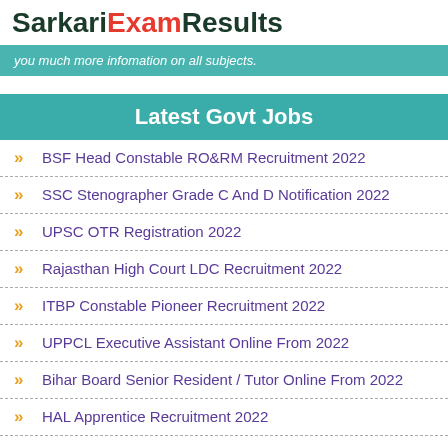SarkariExamResults
you much more infomation on all subjects.
Latest Govt Jobs
BSF Head Constable RO&RM Recruitment 2022
SSC Stenographer Grade C And D Notification 2022
UPSC OTR Registration 2022
Rajasthan High Court LDC Recruitment 2022
ITBP Constable Pioneer Recruitment 2022
UPPCL Executive Assistant Online From 2022
Bihar Board Senior Resident / Tutor Online From 2022
HAL Apprentice Recruitment 2022